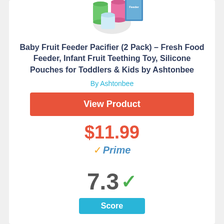[Figure (photo): Product image of Baby Fruit Feeder Pacifier 2 Pack showing colorful silicone pouches and packaging]
Baby Fruit Feeder Pacifier (2 Pack) – Fresh Food Feeder, Infant Fruit Teething Toy, Silicone Pouches for Toddlers & Kids by Ashtonbee
By Ashtonbee
View Product
$11.99
✓Prime
7.3 ✓
Score